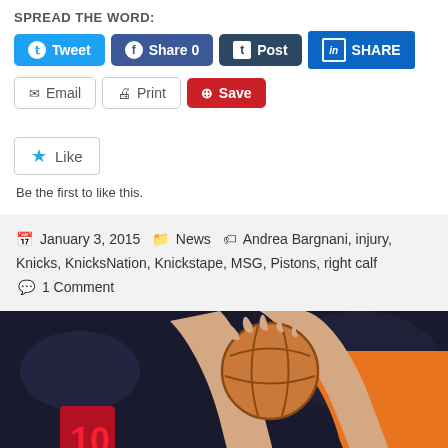SPREAD THE WORD:
[Figure (screenshot): Social sharing buttons: Tweet, Share 0 (Facebook), Post (Tumblr), SHARE (LinkedIn), Email, Print, Save (Pinterest)]
[Figure (screenshot): WordPress Like button widget with star icon and 'Be the first to like this.' text]
Be the first to like this.
January 3, 2015  News  Andrea Bargnani, injury, Knicks, KnicksNation, Knickstape, MSG, Pistons, right calf  1 Comment
[Figure (photo): Basketball player in orange jersey holding a basketball up near their face, with scoreboard visible in background at MSG arena]